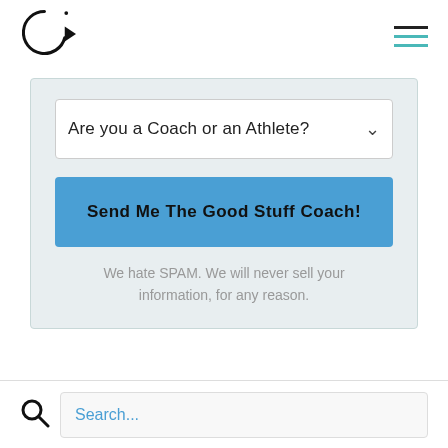[Figure (logo): Circular arrow logo icon with small dot, black outline]
[Figure (other): Hamburger menu icon with two teal lines and one dark line on top]
[Figure (screenshot): Form card with dropdown 'Are you a Coach or an Athlete?', blue submit button, and spam disclaimer]
Are you a Coach or an Athlete?
Send Me The Good Stuff Coach!
We hate SPAM. We will never sell your information, for any reason.
Search...